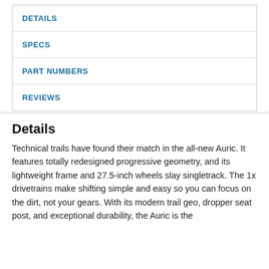DETAILS
SPECS
PART NUMBERS
REVIEWS
Details
Technical trails have found their match in the all-new Auric. It features totally redesigned progressive geometry, and its lightweight frame and 27.5-inch wheels slay singletrack. The 1x drivetrains make shifting simple and easy so you can focus on the dirt, not your gears. With its modern trail geo, dropper seat post, and exceptional durability, the Auric is the